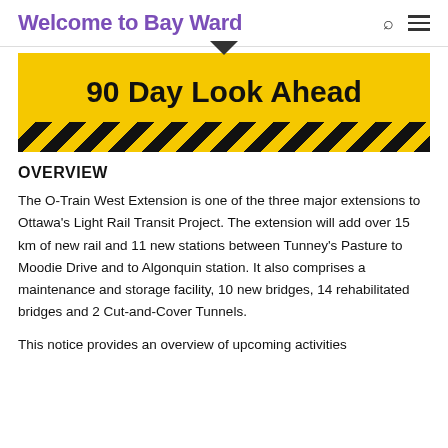Welcome to Bay Ward
[Figure (infographic): Yellow banner with black diagonal hazard stripes and bold text reading '90 Day Look Ahead']
OVERVIEW
The O-Train West Extension is one of the three major extensions to Ottawa's Light Rail Transit Project. The extension will add over 15 km of new rail and 11 new stations between Tunney's Pasture to Moodie Drive and to Algonquin station. It also comprises a maintenance and storage facility, 10 new bridges, 14 rehabilitated bridges and 2 Cut-and-Cover Tunnels.
This notice provides an overview of upcoming activities